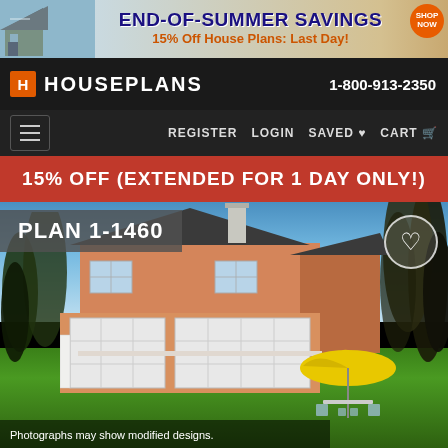[Figure (screenshot): End-of-Summer Savings banner ad: 15% Off House Plans: Last Day!]
HOUSEPLANS   1-800-913-2350
REGISTER   LOGIN   SAVED ♥   CART
15% OFF (EXTENDED FOR 1 DAY ONLY!)
PLAN 1-1460
[Figure (photo): Rendered photo of a two-story house with garage doors, orange stucco exterior, dark roof, chimney, set on green lawn with trees, yellow umbrella and patio furniture in background]
Photographs may show modified designs.